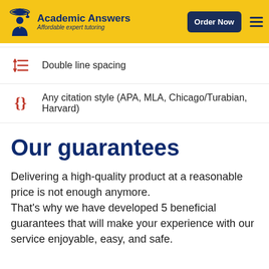Academic Answers — Affordable expert tutoring | Order Now
Double line spacing
Any citation style (APA, MLA, Chicago/Turabian, Harvard)
Our guarantees
Delivering a high-quality product at a reasonable price is not enough anymore. That's why we have developed 5 beneficial guarantees that will make your experience with our service enjoyable, easy, and safe.